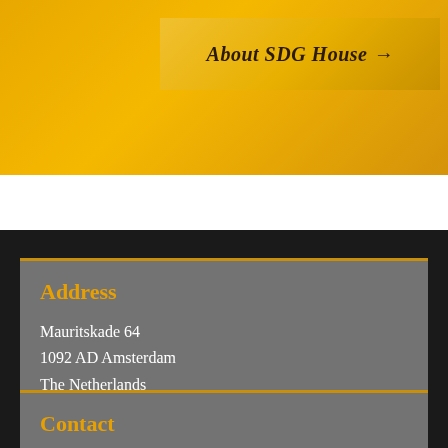[Figure (other): Golden/yellow banner background with a button labeled 'About SDG House →' in italic bold serif font on a golden background]
Address
Mauritskade 64
1092 AD Amsterdam
The Netherlands
Contact
communication@kit.nl